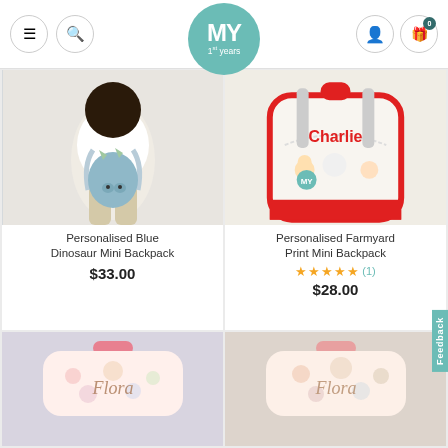MY 1st years — navigation header with menu, search, logo, account, and cart (0 items)
[Figure (photo): Child wearing a blue dinosaur mini backpack, viewed from behind]
Personalised Blue Dinosaur Mini Backpack
$33.00
[Figure (photo): White farmyard print mini backpack with red trim, personalised with name 'Charlie']
Personalised Farmyard Print Mini Backpack
★★★★★ (1)
$28.00
[Figure (photo): Pink floral mini backpack personalised with name 'Flora', partially visible at bottom]
[Figure (photo): Light floral mini backpack personalised with name 'Flora', partially visible at bottom]